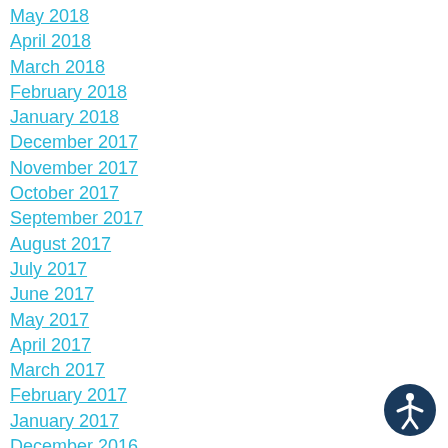May 2018
April 2018
March 2018
February 2018
January 2018
December 2017
November 2017
October 2017
September 2017
August 2017
July 2017
June 2017
May 2017
April 2017
March 2017
February 2017
January 2017
December 2016
November 2016
October 2016
September 2016
August 2016
[Figure (illustration): Accessibility icon: a circular dark blue badge with a white stylized human figure with arms spread]